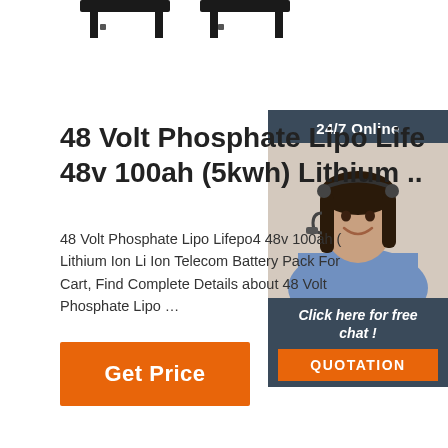[Figure (photo): Partial view of black metal battery bracket/mounting hardware at top of page]
48 Volt Phosphate Lipo Lif... 48v 100ah (5kwh) Lithium ..
48 Volt Phosphate Lipo Lifepo4 48v 100ah (... Lithium Ion Li Ion Telecom Battery Pack For... Cart, Find Complete Details about 48 Volt Phosphate Lipo …
[Figure (photo): Chat widget showing a woman with headset, 24/7 Online label, Click here for free chat! text, and QUOTATION button]
[Figure (other): Orange Get Price button]